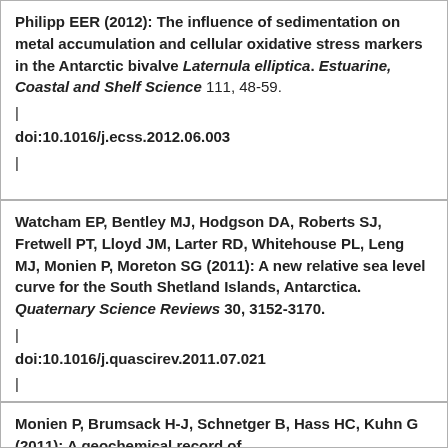Philipp EER (2012): The influence of sedimentation on metal accumulation and cellular oxidative stress markers in the Antarctic bivalve Laternula elliptica. Estuarine, Coastal and Shelf Science 111, 48-59.
|
doi:10.1016/j.ecss.2012.06.003
|
Watcham EP, Bentley MJ, Hodgson DA, Roberts SJ, Fretwell PT, Lloyd JM, Larter RD, Whitehouse PL, Leng MJ, Monien P, Moreton SG (2011): A new relative sea level curve for the South Shetland Islands, Antarctica. Quaternary Science Reviews 30, 3152-3170.
|
doi:10.1016/j.quascirev.2011.07.021
|
Monien P, Brumsack H-J, Schnetger B, Hass HC, Kuhn G (2011): A geochemical record of